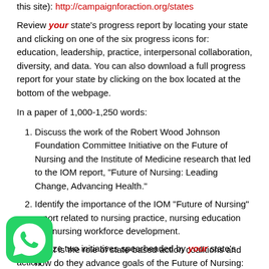this site): http://campaignforaction.org/states
Review your state's progress report by locating your state and clicking on one of the six progress icons for: education, leadership, practice, interpersonal collaboration, diversity, and data. You can also download a full progress report for your state by clicking on the box located at the bottom of the webpage.
In a paper of 1,000-1,250 words:
Discuss the work of the Robert Wood Johnson Foundation Committee Initiative on the Future of Nursing and the Institute of Medicine research that led to the IOM report, “Future of Nursing: Leading Change, Advancing Health.”
Identify the importance of the IOM “Future of Nursing” report related to nursing practice, nursing education and nursing workforce development.
What is the role of state-based action coalitions and how do they advance goals of the Future of Nursing: Campaign for Action?
Summarize two initiatives spearheaded by your state’s action